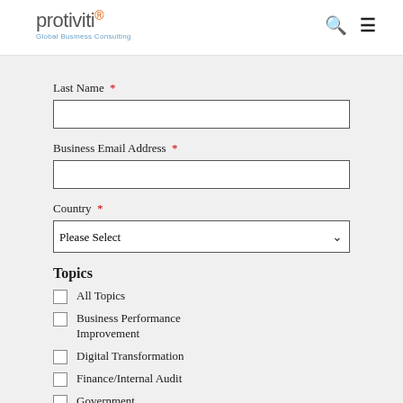protiviti® Global Business Consulting
Last Name *
Business Email Address *
Country *
Topics
All Topics
Business Performance Improvement
Digital Transformation
Finance/Internal Audit
Government
Organizational Resea...